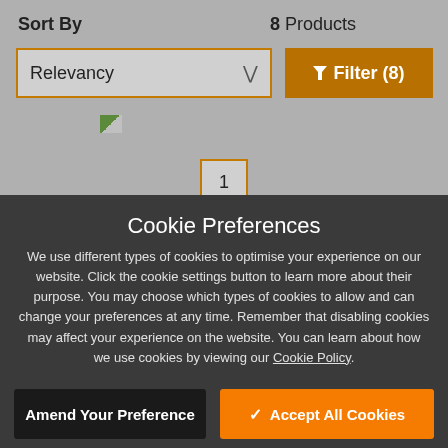Sort By
8 Products
Relevancy
Filter (8)
Cookie Preferences
We use different types of cookies to optimise your experience on our website. Click the cookie settings button to learn more about their purpose. You may choose which types of cookies to allow and can change your preferences at any time. Remember that disabling cookies may affect your experience on the website. You can learn about how we use cookies by viewing our Cookie Policy.
Amend Your Preference
Accept All Cookies